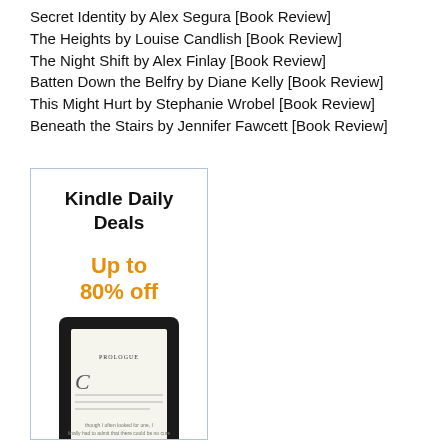Secret Identity by Alex Segura [Book Review]
The Heights by Louise Candlish [Book Review]
The Night Shift by Alex Finlay [Book Review]
Batten Down the Belfry by Diane Kelly [Book Review]
This Might Hurt by Stephanie Wrobel [Book Review]
Beneath the Stairs by Jennifer Fawcett [Book Review]
[Figure (illustration): Advertisement box for Kindle Daily Deals with text 'Kindle Daily Deals', 'Up to 80% off' in orange, and an image of a Kindle device showing a book prologue page.]